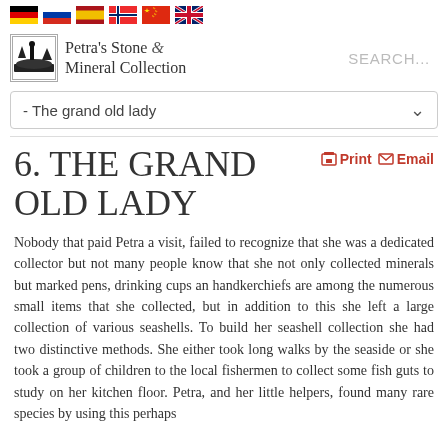[Figure (other): Row of six country flag icons: German, Russian, Spanish, Norwegian, Chinese, UK]
[Figure (logo): Petra's Stone & Mineral Collection logo with silhouette icon]
SEARCH...
- The grand old lady
6. THE GRAND OLD LADY
Print  Email
Nobody that paid Petra a visit, failed to recognize that she was a dedicated collector but not many people know that she not only collected minerals but marked pens, drinking cups an handkerchiefs are among the numerous small items that she collected, but in addition to this she left a large collection of various seashells. To build her seashell collection she had two distinctive methods. She either took long walks by the seaside or she took a group of children to the local fishermen to collect some fish guts to study on her kitchen floor. Petra, and her little helpers, found many rare species by using this perhaps